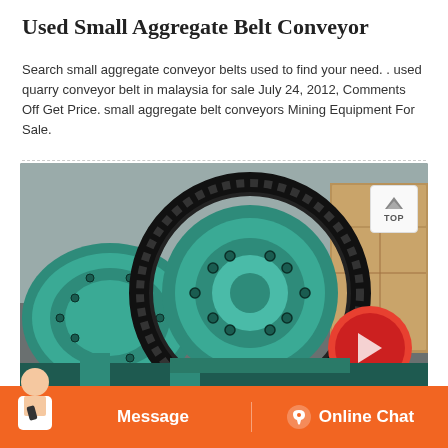Used Small Aggregate Belt Conveyor
Search small aggregate conveyor belts used to find your need. . used quarry conveyor belt in malaysia for sale July 24, 2012, Comments Off Get Price. small aggregate belt conveyors Mining Equipment For Sale.
[Figure (photo): Close-up photograph of a large green industrial ball mill machine with a black gear ring, showing the cylindrical drum and mechanical components in an industrial warehouse setting.]
Message   Online Chat